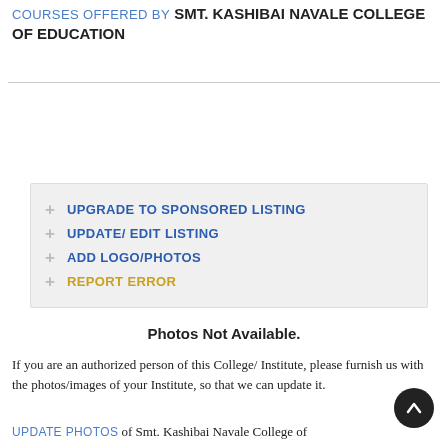COURSES OFFERED BY SMT. KASHIBAI NAVALE COLLEGE OF EDUCATION
+ UPGRADE TO SPONSORED LISTING
+ UPDATE/ EDIT LISTING
+ ADD LOGO/PHOTOS
+ REPORT ERROR
PHOTOS | VIDEO
Photos Not Available.
If you are an authorized person of this College/Institute, please furnish us with the photos/images of your Institute, so that we can update it.
UPDATE PHOTOS of Smt. Kashibai Navale College of